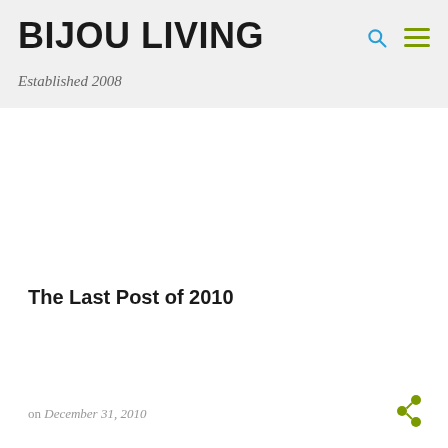BIJOU LIVING
Established 2008
The Last Post of 2010
on December 31, 2010